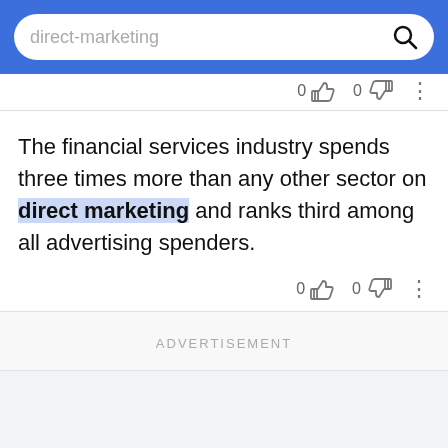direct-marketing
The financial services industry spends three times more than any other sector on direct marketing and ranks third among all advertising spenders.
ADVERTISEMENT